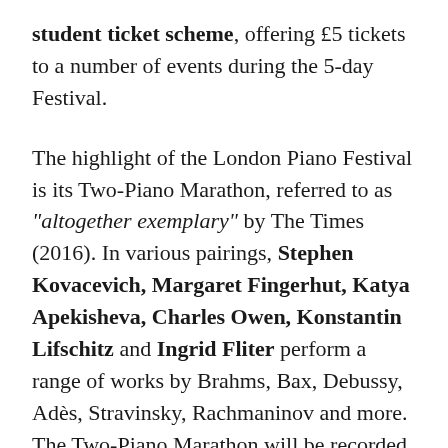student ticket scheme, offering £5 tickets to a number of events during the 5-day Festival.

The highlight of the London Piano Festival is its Two-Piano Marathon, referred to as "altogether exemplary" by The Times (2016). In various pairings, Stephen Kovacevich, Margaret Fingerhut, Katya Apekisheva, Charles Owen, Konstantin Lifschitz and Ingrid Fliter perform a range of works by Brahms, Bax, Debussy, Adès, Stravinsky, Rachmaninov and more.  The Two-Piano Marathon will be recorded by BBC Radio 3 for future broadcast in Radio 3 in Concert.